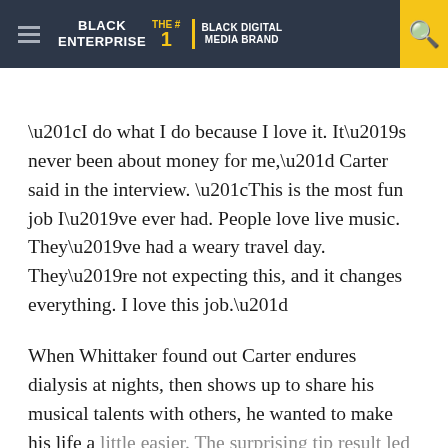BLACK ENTERPRISE THE #1 BLACK DIGITAL MEDIA BRAND
“I do what I do because I love it. It’s never been about money for me,” Carter said in the interview. “This is the most fun job I’ve ever had. People love live music. They’ve had a weary travel day. They’re not expecting this, and it changes everything. I love this job.”
When Whittaker found out Carter endures dialysis at nights, then shows up to share his musical talents with others, he wanted to make his life a little easier. The surprising tip result led Carter to classify his positive experience as “God at work,”